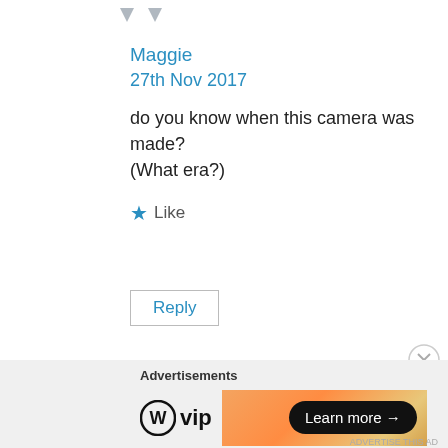Maggie
27th Nov 2017
do you know when this camera was made? (What era?)
Like
Reply
[Figure (photo): Circular avatar photo of a dark camera object on blue background]
Advertisements
[Figure (logo): WordPress VIP logo with circle W icon followed by vip text]
Learn more →